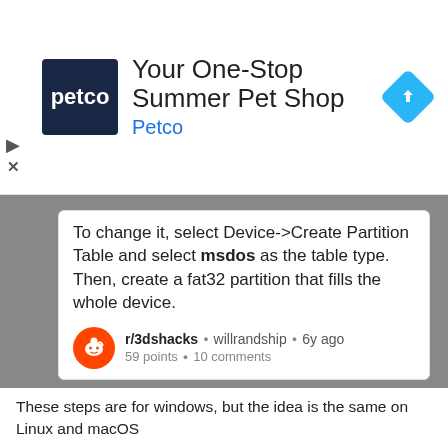[Figure (other): Petco advertisement banner: Petco logo (dark blue square with white 'petco' text), headline 'Your One-Stop Summer Pet Shop', subtext 'Petco', and a blue navigation/map icon on the right]
To change it, select Device->Create Partition Table and select msdos as the table type. Then, create a fat32 partition that fills the whole device.
r/3dshacks • willrandship • 6y ago
59 points • 10 comments
These steps are for windows, but the idea is the same on Linux and macOS
1. Delete the partition on the card
2. Change to MBR
3. Create new Fat32 Partition
4. Use in 3D printer
Insert the Micro SD card into your computer